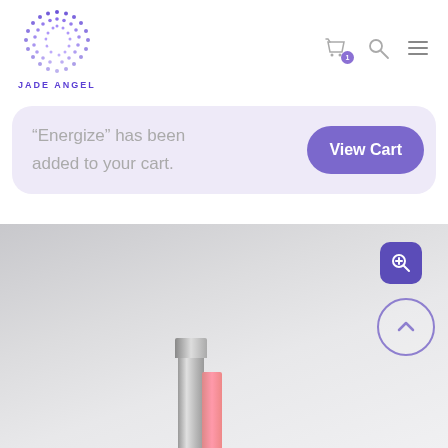[Figure (logo): Jade Angel brand logo — circular dot-matrix pattern in purple/violet with text JADE ANGEL below]
[Figure (screenshot): Navigation header icons: shopping bag with badge '1', search magnifier, hamburger menu]
“Energize” has been added to your cart.
View Cart
[Figure (photo): Product image area showing cosmetic lipstick/tubes on a light grey background, with a zoom icon and scroll-to-top button]